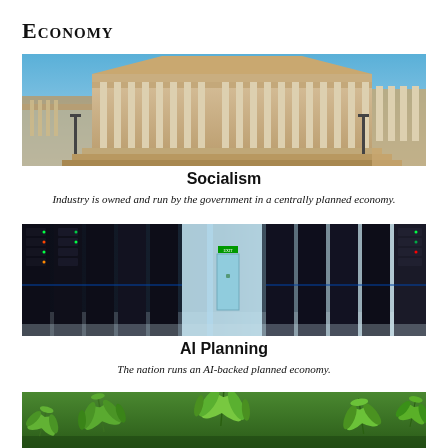Economy
[Figure (photo): Photo of a government building (Capitol) with classical columns under a blue sky]
Socialism
Industry is owned and run by the government in a centrally planned economy.
[Figure (photo): Photo of a server room with rows of data center servers and blue lighting]
AI Planning
The nation runs an AI-backed planned economy.
[Figure (photo): Photo of cannabis/marijuana plants with green leaves filling the frame]